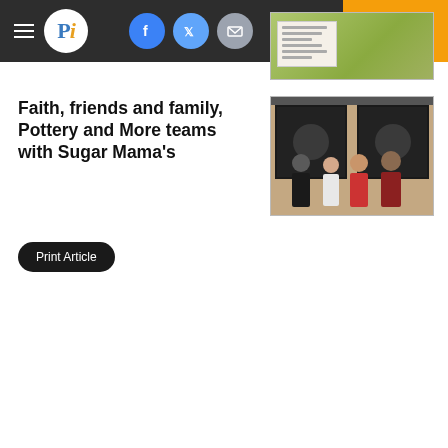Pi — navigation bar with hamburger menu, logo, Facebook, Twitter, email icons, Log In, Subscribe
[Figure (photo): Landscape photo showing a sign board with green foliage/bushes in the background]
Faith, friends and family, Pottery and More teams with Sugar Mama's
[Figure (photo): Photo of four people standing in front of a brick storefront with dark windows]
Print Article